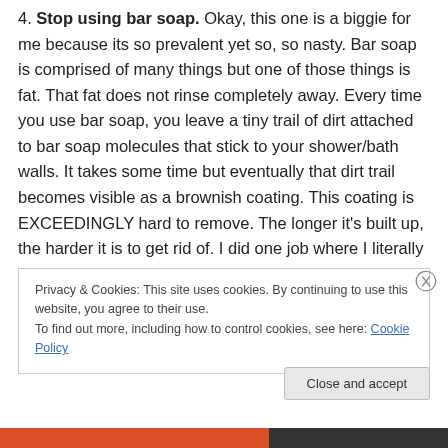4. Stop using bar soap. Okay, this one is a biggie for me because its so prevalent yet so, so nasty. Bar soap is comprised of many things but one of those things is fat. That fat does not rinse completely away. Every time you use bar soap, you leave a tiny trail of dirt attached to bar soap molecules that stick to your shower/bath walls. It takes some time but eventually that dirt trail becomes visible as a brownish coating. This coating is EXCEEDINGLY hard to remove. The longer it’s built up, the harder it is to get rid of. I did one job where I literally scraped it off the shower wall for an HOUR. This was a
Privacy & Cookies: This site uses cookies. By continuing to use this website, you agree to their use.
To find out more, including how to control cookies, see here: Cookie Policy